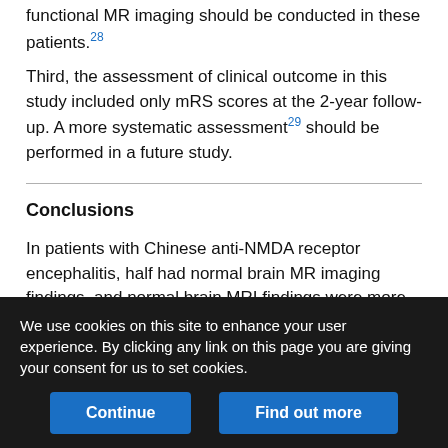functional MR imaging should be conducted in these patients.28
Third, the assessment of clinical outcome in this study included only mRS scores at the 2-year follow-up. A more systematic assessment29 should be performed in a future study.
Conclusions
In patients with Chinese anti-NMDA receptor encephalitis, half had normal brain MR imaging findings, and normal brain MRI findings were more common in female patients. Psychiatric and behavioral abnormalities were more common in adults, and autonomic symptoms were more common in pediatric patients. Hippocampal lesions were the most common MR imaging abnormal finding. The
We use cookies on this site to enhance your user experience. By clicking any link on this page you are giving your consent for us to set cookies.